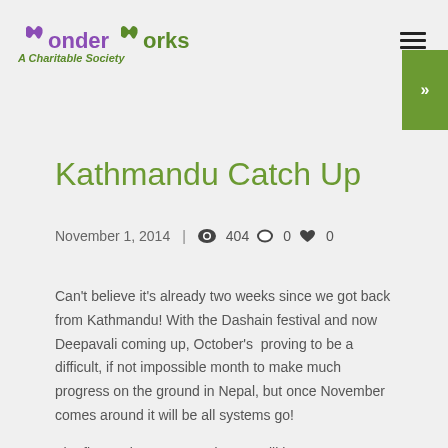WonderWorks A Charitable Society
Kathmandu Catch Up
November 1, 2014  |  404  0  0
Can't believe it's already two weeks since we got back from Kathmandu! With the Dashain festival and now Deepavali coming up, October's  proving to be a difficult, if not impossible month to make much progress on the ground in Nepal, but once November comes around it will be all systems go!
The first project to get underway will be our